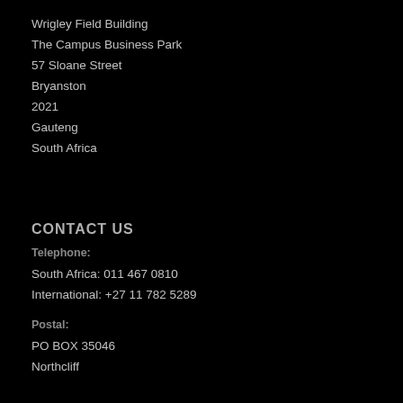Wrigley Field Building
The Campus Business Park
57 Sloane Street
Bryanston
2021
Gauteng
South Africa
CONTACT US
Telephone:
South Africa: 011 467 0810
International: +27 11 782 5289
Postal:
PO BOX 35046
Northcliff